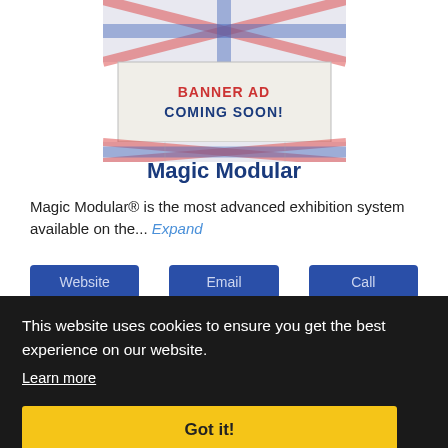[Figure (illustration): Union Jack flag with a central banner placeholder reading 'BANNER AD COMING SOON!' in red and blue text on a light background, styled as a British flag advertisement placeholder.]
Magic Modular
Magic Modular® is the most advanced exhibition system available on the... Expand
Website | Email | Call
This website uses cookies to ensure you get the best experience on our website.
Learn more
Got it!
The Great British List • Copyright 2022 All Rights reserved. | Sitemap